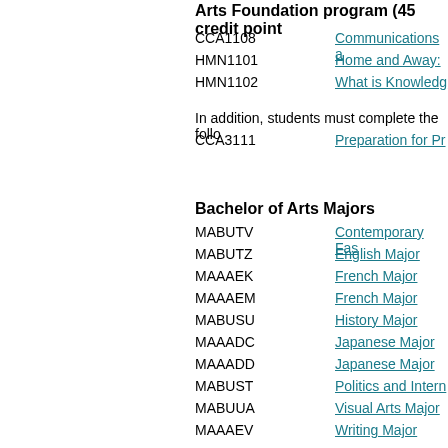Arts Foundation program (45 credit point
CCA1108  Communications a
HMN1101  Home and Away:
HMN1102  What is Knowledg
In addition, students must complete the follo
CCA3111  Preparation for Pr
Bachelor of Arts Majors
MABUTV  Contemporary Fas
MABUTZ  English Major
MAAAEK  French Major
MAAAEM  French Major
MABUSU  History Major
MAAADC  Japanese Major
MAAADD  Japanese Major
MABUST  Politics and Intern
MABUUA  Visual Arts Major
MAAAEV  Writing Major
Bachelor of Arts Minors
MIAAHK  Children's Literatu